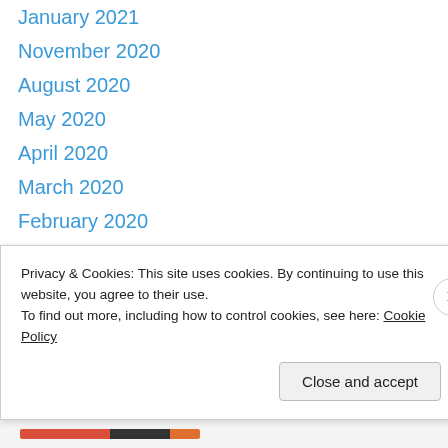January 2021
November 2020
August 2020
May 2020
April 2020
March 2020
February 2020
October 2019
July 2019
June 2019
May 2019
March 2019
February 2019
November 2018
Privacy & Cookies: This site uses cookies. By continuing to use this website, you agree to their use. To find out more, including how to control cookies, see here: Cookie Policy